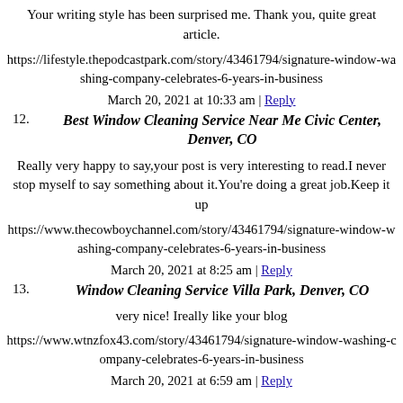Your writing style has been surprised me. Thank you, quite great article.
https://lifestyle.thepodcastpark.com/story/43461794/signature-window-washing-company-celebrates-6-years-in-business
March 20, 2021 at 10:33 am | Reply
12. Best Window Cleaning Service Near Me Civic Center, Denver, CO
Really very happy to say,your post is very interesting to read.I never stop myself to say something about it.You're doing a great job.Keep it up
https://www.thecowboychannel.com/story/43461794/signature-window-washing-company-celebrates-6-years-in-business
March 20, 2021 at 8:25 am | Reply
13. Window Cleaning Service Villa Park, Denver, CO
very nice! Ireally like your blog
https://www.wtnzfox43.com/story/43461794/signature-window-washing-company-celebrates-6-years-in-business
March 20, 2021 at 6:59 am | Reply